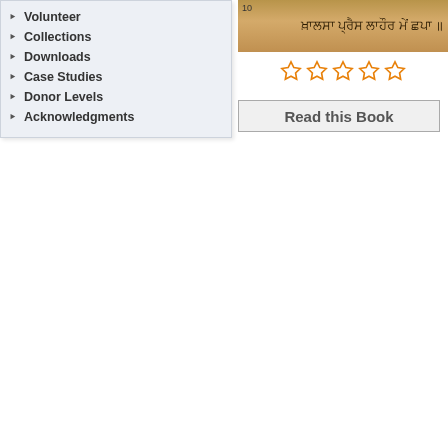Volunteer
Collections
Downloads
Case Studies
Donor Levels
Acknowledgments
[Figure (photo): Aged Punjabi/Gurmukhi script printed on yellowed paper, showing text in Gurumkhi script with text reading like Khalsa Press Lahore]
[Figure (other): Five orange outline star rating icons in a row, all empty/unrated]
Read this Book